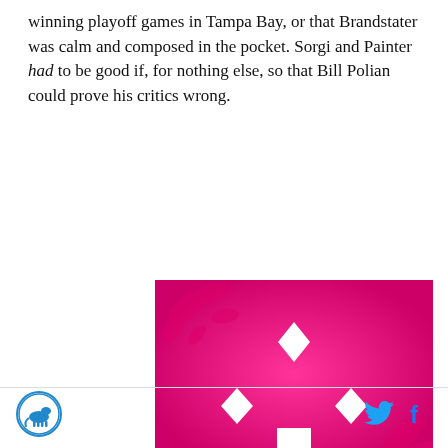winning playoff games in Tampa Bay, or that Brandstater was calm and composed in the pocket. Sorgi and Painter had to be good if, for nothing else, so that Bill Polian could prove his critics wrong.
[Figure (illustration): Magenta/pink background with white diamond shapes arranged in a smiley-face pattern (three diamonds for eyes and cheeks, one home-plate shape for mouth), with decorative pink floral/leaf motifs in corners.]
Logo icon left. Twitter and Facebook icons right.